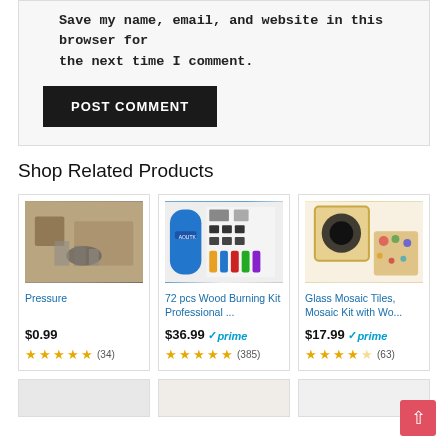Save my name, email, and website in this browser for the next time I comment.
POST COMMENT
Shop Related Products
[Figure (photo): Product photo: person at table with bowls - Pressure]
Pressure
$0.99
★★★★★ (34)
[Figure (photo): Product photo: 72 pcs Wood Burning Kit Professional ...]
72 pcs Wood Burning Kit Professional ...
$36.99 ✓prime
★★★★½ (385)
[Figure (photo): Product photo: Glass Mosaic Tiles, Mosaic Kit with Wo...]
Glass Mosaic Tiles, Mosaic Kit with Wo...
$17.99 ✓prime
★★★½☆ (63)